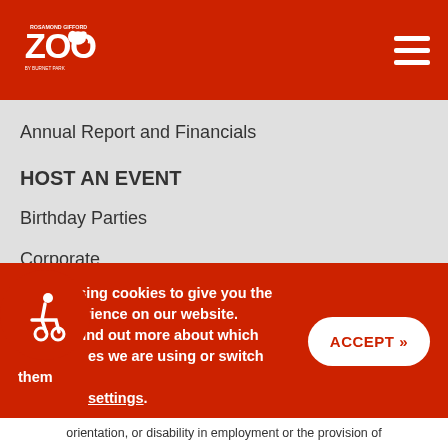[Figure (logo): Rosamond Gifford Zoo logo in white on red background header]
Annual Report and Financials
HOST AN EVENT
Birthday Parties
Corporate
Weddings
Social
We are using cookies to give you the best experience on our website. You can find out more about which cookies we are using or switch them off in settings.
orientation, or disability in employment or the provision of